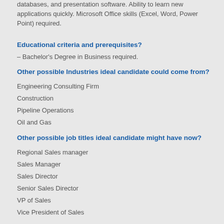databases, and presentation software. Ability to learn new applications quickly. Microsoft Office skills (Excel, Word, Power Point) required.
Educational criteria and prerequisites?
– Bachelor's Degree in Business required.
Other possible Industries ideal candidate could come from?
Engineering Consulting Firm
Construction
Pipeline Operations
Oil and Gas
Other possible job titles ideal candidate might have now?
Regional Sales manager
Sales Manager
Sales Director
Senior Sales Director
VP of Sales
Vice President of Sales
Upward growth opportunity for ideal candidate?
– Upward mobility within parent company